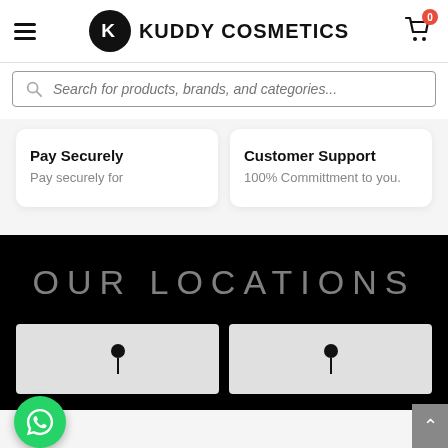KUDDY COSMETICS
Search for products, brands, and categories...
Pay Securely
Pay securely for
Customer Support
100% Committment to you.
OUR LOCATIONS
[Figure (map): Map thumbnail with location pin marker, left]
[Figure (map): Map thumbnail with location pin marker, right]